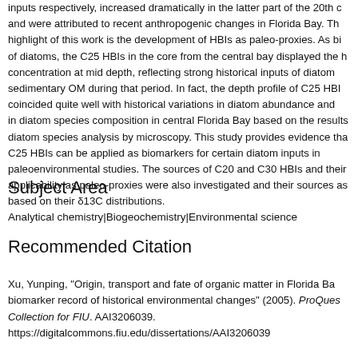inputs respectively, increased dramatically in the latter part of the 20th century and were attributed to recent anthropogenic changes in Florida Bay. The highlight of this work is the development of HBIs as paleo-proxies. As biomarkers of diatoms, the C25 HBIs in the core from the central bay displayed the highest concentration at mid depth, reflecting strong historical inputs of diatom-derived sedimentary OM during that period. In fact, the depth profile of C25 HBIs coincided quite well with historical variations in diatom abundance and variations in diatom species composition in central Florida Bay based on the results of diatom species analysis by microscopy. This study provides evidence that C25 HBIs can be applied as biomarkers for certain diatom inputs in paleoenvironmental studies. The sources of C20 and C30 HBIs and their applicability as paleo-proxies were also investigated and their sources assessed based on their δ13C distributions.
Subject Area
Analytical chemistry|Biogeochemistry|Environmental science
Recommended Citation
Xu, Yunping, "Origin, transport and fate of organic matter in Florida Bay: biomarker record of historical environmental changes" (2005). ProQuest Collection for FIU. AAI3206039.
https://digitalcommons.fiu.edu/dissertations/AAI3206039